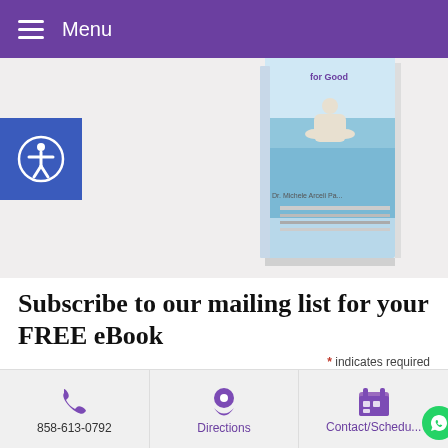Menu
[Figure (photo): Book cover showing person meditating by water, titled 'for Good' with author Dr. Michele Arceli Pena]
Subscribe to our mailing list for your FREE eBook
* indicates required
Email Address *
858-613-0792  Directions  Contact/Schedu...